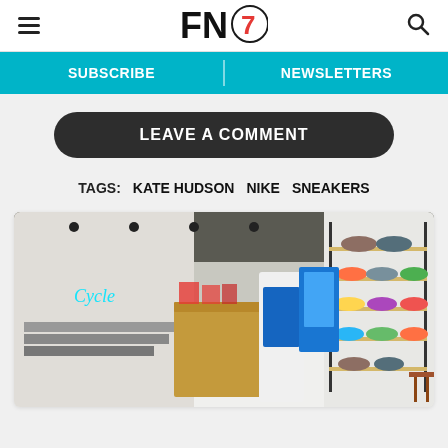FN7 [Footwear News logo with navigation hamburger and search icon]
SUBSCRIBE   NEWSLETTERS
LEAVE A COMMENT
TAGS:   KATE HUDSON   NIKE   SNEAKERS
[Figure (photo): Interior of a sneaker/footwear retail store showing shelves of sneakers on the right wall, a wooden display counter in the center, and a staircase in the background with a neon sign reading 'Cycle'.]